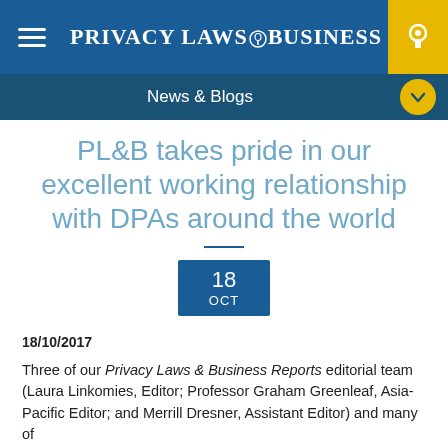PRIVACY LAWS & BUSINESS
News & Blogs
PL&B takes pride in our excellent working relationship with DPAs around the world
18 OCT
18/10/2017
Three of our Privacy Laws & Business Reports editorial team (Laura Linkomies, Editor; Professor Graham Greenleaf, Asia-Pacific Editor; and Merrill Dresner, Assistant Editor) and many of